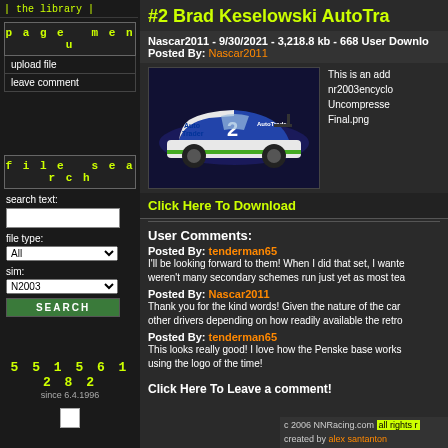the library
page menu
upload file
leave comment
file search
search text:
file type: All
sim: N2003
SEARCH
551561282
since 6.4.1996
#2 Brad Keselowski AutoTrader
Nascar2011 - 9/30/2021 - 3,218.8 kb - 668 User Downloads
Posted By: Nascar2011
[Figure (photo): NASCAR #2 Brad Keselowski AutoTrader race car, white and blue livery]
This is an add nr2003encyclo Uncompressed Final.png
Click Here To Download
User Comments:
Posted By: tenderman65
I'll be looking forward to them! When I did that set, I wanted weren't many secondary schemes run just yet as most tea
Posted By: Nascar2011
Thank you for the kind words! Given the nature of the car other drivers depending on how readily available the retro
Posted By: tenderman65
This looks really good! I love how the Penske base works using the logo of the time!
Click Here To Leave a comment!
c 2006 NNRacing.com all rights r
created by alex santanton